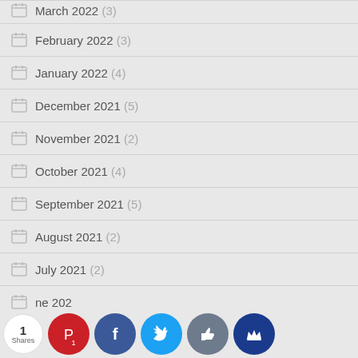March 2022 (3)
February 2022 (3)
January 2022 (4)
December 2021 (5)
November 2021 (2)
October 2021 (4)
September 2021 (5)
August 2021 (2)
July 2021 (2)
June 2021